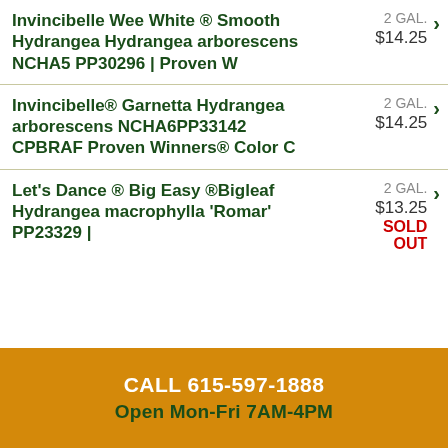Invincibelle ® Spirit II Hydrangea arborescens 'NCHA2' PP28316 | Proven Winners® Color Cho | 2 GAL. | $11.25 | SOLD OUT
Invincibelle Wee White ® Smooth Hydrangea Hydrangea arborescens NCHA5 PP30296 | Proven W | 2 GAL. | $14.25
Invincibelle® Garnetta Hydrangea arborescens NCHA6PP33142 CPBRAF Proven Winners® Color C | 2 GAL. | $14.25
Let's Dance ® Big Easy ®Bigleaf Hydrangea macrophylla 'Romar' PP23329 | 2 GAL. | $13.25 | SOLD OUT
CALL 615-597-1888
Open Mon-Fri 7AM-4PM